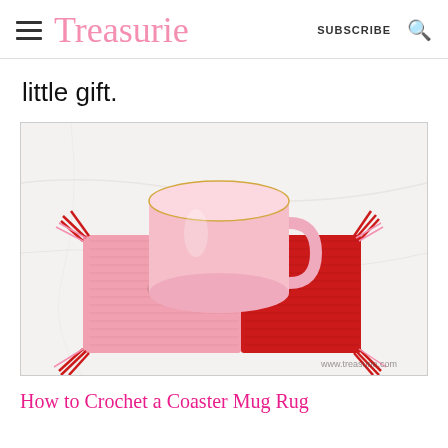Treasurie  SUBSCRIBE
little gift.
[Figure (photo): A pink and red crocheted mug rug/coaster with decorative tassels at each corner, and a pink ceramic mug sitting on top of it. The mug rug is photographed on a white marble surface. Watermark reads www.treasurie.com]
How to Crochet a Coaster Mug Rug